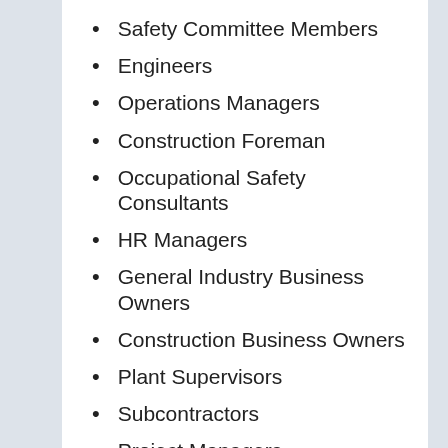Safety Committee Members
Engineers
Operations Managers
Construction Foreman
Occupational Safety Consultants
HR Managers
General Industry Business Owners
Construction Business Owners
Plant Supervisors
Subcontractors
Project Managers
Safety Managers
Business Owners